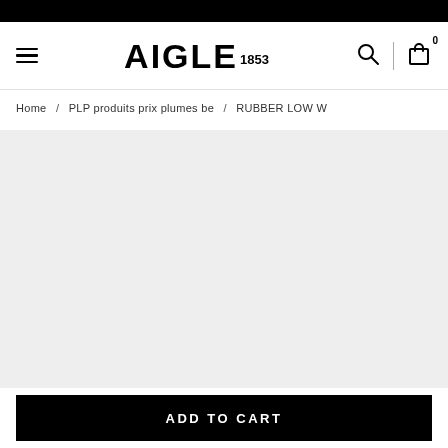AIGLE 1853 — navigation header with hamburger menu, logo, search and cart icons
Home / PLP produits prix plumes be / RUBBER LOW W
[Figure (other): Product image area — light grey placeholder background for product photo]
ADD TO CART